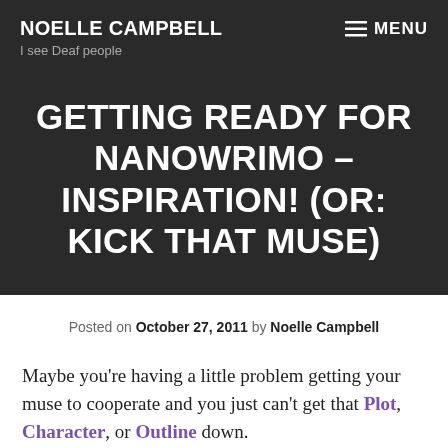NOELLE CAMPBELL
I see Deaf people
MENU
GETTING READY FOR NANOWRIMO – INSPIRATION! (OR: KICK THAT MUSE)
Posted on October 27, 2011 by Noelle Campbell
Maybe you're having a little problem getting your muse to cooperate and you just can't get that Plot, Character, or Outline down.